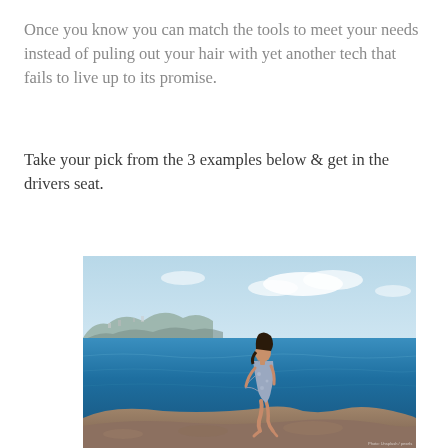Once you know you can match the tools to meet your needs instead of puling out your hair with yet another tech that fails to live up to its promise.
Take your pick from the 3 examples below & get in the drivers seat.
[Figure (photo): A woman in a floral dress walking on rocky shoreline beside a deep blue sea, with a hillside town visible in the background under a partly cloudy sky.]